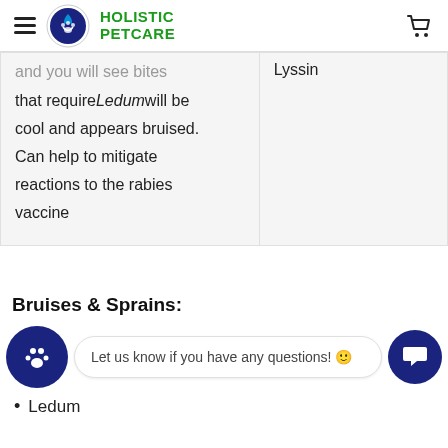HOLISTIC PETCARE
| Description | Remedy |
| --- | --- |
| and you will see bites that require Ledum will be cool and appears bruised. Can help to mitigate reactions to the rabies vaccine | Lyssin |
Bruises & Sprains:
Let us know if you have any questions! 😊
Ledum